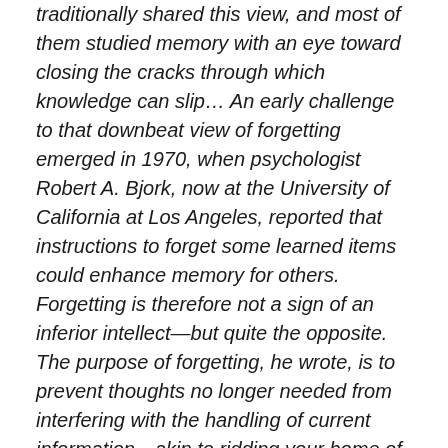traditionally shared this view, and most of them studied memory with an eye toward closing the cracks through which knowledge can slip… An early challenge to that downbeat view of forgetting emerged in 1970, when psychologist Robert A. Bjork, now at the University of California at Los Angeles, reported that instructions to forget some learned items could enhance memory for others. Forgetting is therefore not a sign of an inferior intellect—but quite the opposite. The purpose of forgetting, he wrote, is to prevent thoughts no longer needed from interfering with the handling of current information—akin to ridding your home of extraneous objects so that you can find what you need.
Memory is much more efficient in this light. Because 99 percent of our experiences are fairly uneventful and meaningless, the mind does a good job of only holding